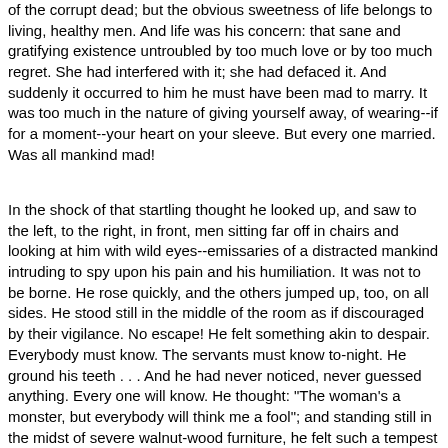of the corrupt dead; but the obvious sweetness of life belongs to living, healthy men. And life was his concern: that sane and gratifying existence untroubled by too much love or by too much regret. She had interfered with it; she had defaced it. And suddenly it occurred to him he must have been mad to marry. It was too much in the nature of giving yourself away, of wearing--if for a moment--your heart on your sleeve. But every one married. Was all mankind mad!
In the shock of that startling thought he looked up, and saw to the left, to the right, in front, men sitting far off in chairs and looking at him with wild eyes--emissaries of a distracted mankind intruding to spy upon his pain and his humiliation. It was not to be borne. He rose quickly, and the others jumped up, too, on all sides. He stood still in the middle of the room as if discouraged by their vigilance. No escape! He felt something akin to despair. Everybody must know. The servants must know to-night. He ground his teeth . . . And he had never noticed, never guessed anything. Every one will know. He thought: "The woman's a monster, but everybody will think me a fool"; and standing still in the midst of severe walnut-wood furniture, he felt such a tempest of anguish within him that he seemed to see himself rolling on the carpet, beating his head against the wall. He was disgusted with himself, with the loathsome rush of emotion breaking through all the reserves that guarded his manhood. Something unknown, withering and poisonous, had entered his life, passed near him, touched him, and he was deteriorating. He was appalled. What was it? She was gone. Why? His head was ready to burst with the endeavour to understand her act and his subtle horror of it. Everything was changed. Why? Only a woman gone, after all; and yet he had a vision, a vision quick and distinct as a dream: the vision of everything he had thought indestructible and safe in the world crashing down about him, like solid walls do before the fierce breath of a hurricane. He stared, shaking in every limb, while he felt the destructive breath, the mysterious breath, the breath of passion, stir the